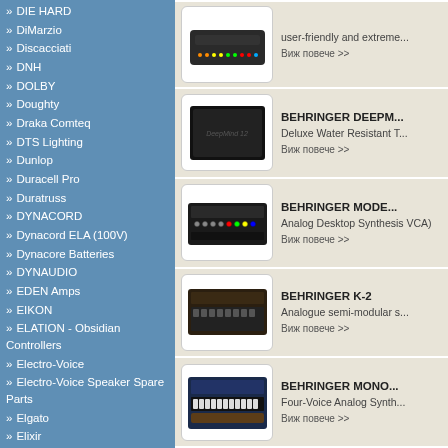DIE HARD
DiMarzio
Discacciati
DNH
DOLBY
Doughty
Draka Comteq
DTS Lighting
Dunlop
Duracell Pro
Duratruss
DYNACORD
Dynacord ELA (100V)
Dynacore Batteries
DYNAUDIO
EDEN Amps
EIKON
ELATION - Obsidian Controllers
Electro-Voice
Electro-Voice Speaker Spare Parts
Elgato
Elixir
Elko-Schmid
EMG
Eminence
Eminence / Tonsil
EMOTIVA
Epiphone
ERSO
ESP
EUROLITE
BEHRINGER DEEPM... — Deluxe Water Resistant T... — Виж повече >>
BEHRINGER MODE... — Analog Desktop Synthesis VCA) — Виж повече >>
BEHRINGER K-2 — Analogue semi-modular s... — Виж повече >>
BEHRINGER MONO... — Four-Voice Analog Synth... — Виж повече >>